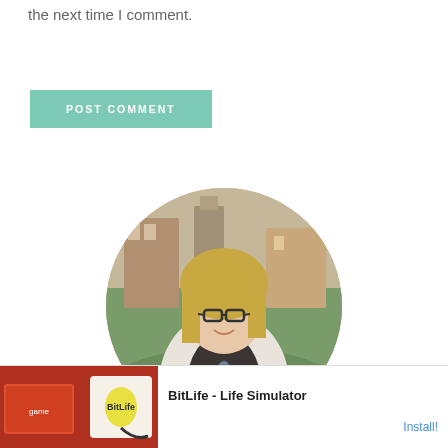the next time I comment.
POST COMMENT
[Figure (photo): Circular profile photo of a middle-aged woman with blonde hair and glasses, wearing a black top and white patterned cardigan, standing outdoors with a blurred campus/park background.]
HI, I'M ANGELA!
[Figure (screenshot): Advertisement banner for BitLife - Life Simulator game, showing a red background with game screenshots and a sperm icon logo on the left, and text 'BitLife - Life Simulator' with an 'Install!' button on the right.]